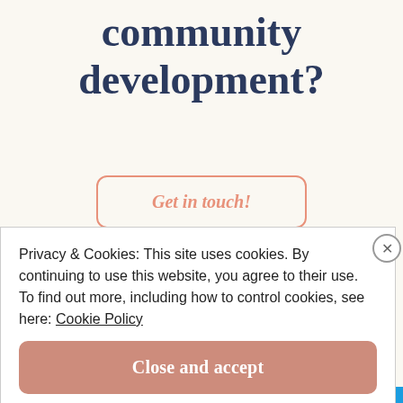community development?
Get in touch!
Advertisements
Need a website quickly –
Privacy & Cookies: This site uses cookies. By continuing to use this website, you agree to their use. To find out more, including how to control cookies, see here: Cookie Policy
Close and accept